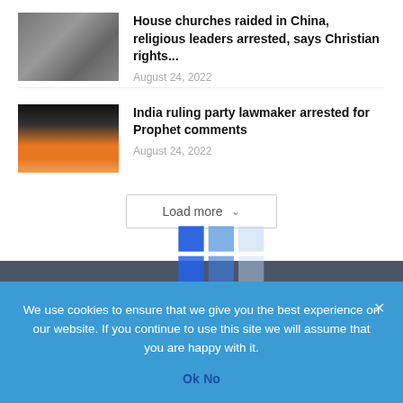[Figure (photo): Photo of police/people on street, thumbnail for church raid article]
House churches raided in China, religious leaders arrested, says Christian rights...
August 24, 2022
[Figure (photo): Photo of a man in orange clothing, thumbnail for India lawmaker article]
India ruling party lawmaker arrested for Prophet comments
August 24, 2022
[Figure (other): Loading spinner animation overlay on Load more button area]
Load more
[Figure (logo): Website logo in white text on dark footer background]
We use cookies to ensure that we give you the best experience on our website. If you continue to use this site we will assume that you are happy with it.
Ok   No